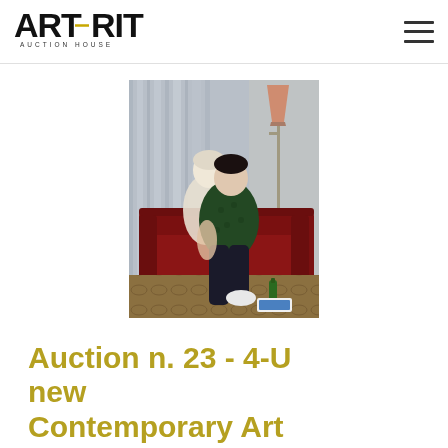ART-RITE AUCTION HOUSE
[Figure (photo): Painting of two people embracing on a red sofa with an orange floor lamp in the background, interior scene with curtains]
Auction n. 23 - 4-U new Contemporary Art